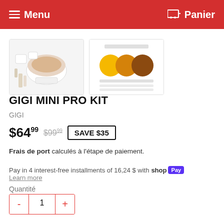Menu   Panier
[Figure (photo): Two product thumbnail images: left shows a wax warmer kit with accessories, right shows a color chart with three circles (yellow, orange, brown) labelled shade options.]
GIGI MINI PRO KIT
GIGI
$64.99  $99.99  SAVE $35
Frais de port calculés à l'étape de paiement.
Pay in 4 interest-free installments of 16,24 $ with shop Pay
Learn more
Quantité
- 1 +